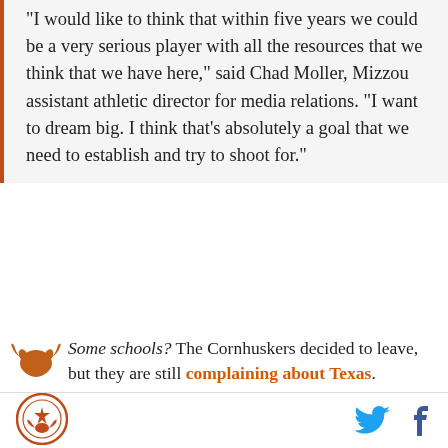"I would like to think that within five years we could be a very serious player with all the resources that we think that we have here," said Chad Moller, Mizzou assistant athletic director for media relations. "I want to dream big. I think that's absolutely a goal that we need to establish and try to shoot for."
Some schools? The Cornhuskers decided to leave, but they are still complaining about Texas.
Weiberg, while in the Big 12, tried to interest his presidents in developing a network. Those talks stalled in 2007, largely because some schools